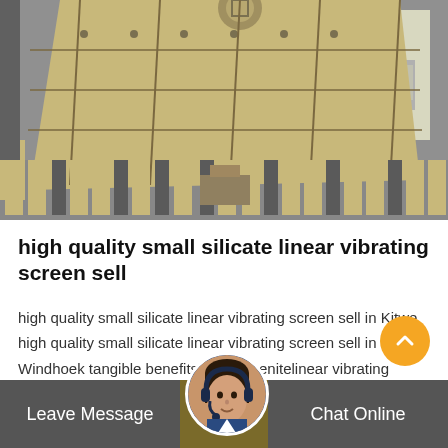[Figure (photo): Large industrial vibrating screen equipment stored in a warehouse/facility. Beige/yellow painted heavy machinery with metal panels, bolts, and structural components. A truck is visible in the background through an open bay.]
high quality small silicate linear vibrating screen sell
high quality small silicate linear vibrating screen sell in Kitwe high quality small silicate linear vibrating screen sell in Kitwe Windhoek tangible benefits large ilmenitelinear vibrating screen sellat a lo tangible benefits large glassline vibrating screenprice in…